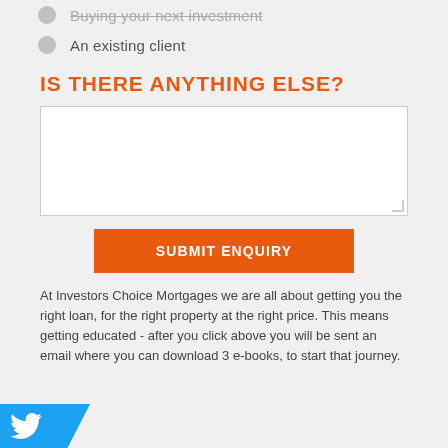Buying your next investment
An existing client
IS THERE ANYTHING ELSE?
SUBMIT ENQUIRY
At Investors Choice Mortgages we are all about getting you the right loan, for the right property at the right price. This means getting educated - after you click above you will be sent an email where you can download 3 e-books, to start that journey.
[Figure (logo): Twitter bird logo in blue chevron/flag shape at bottom left]